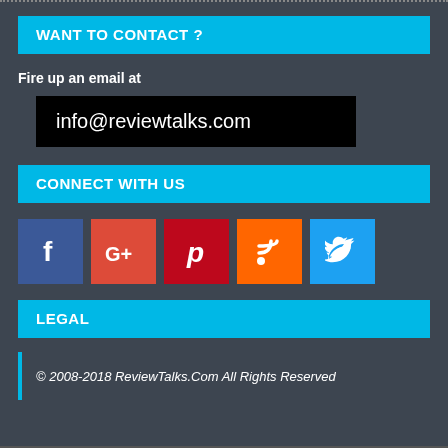WANT TO CONTACT ?
Fire up an email at
info@reviewtalks.com
CONNECT WITH US
[Figure (infographic): Social media icons: Facebook (blue), Google+ (red-orange), Pinterest (red), RSS (orange), Twitter (light blue)]
LEGAL
© 2008-2018 ReviewTalks.Com All Rights Reserved